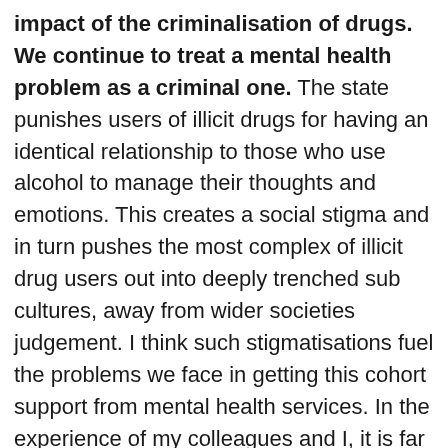impact of the criminalisation of drugs. We continue to treat a mental health problem as a criminal one. The state punishes users of illicit drugs for having an identical relationship to those who use alcohol to manage their thoughts and emotions. This creates a social stigma and in turn pushes the most complex of illicit drug users out into deeply trenched sub cultures, away from wider societies judgement. I think such stigmatisations fuel the problems we face in getting this cohort support from mental health services. In the experience of my colleagues and I, it is far easier to link users of alcohol into other services, less barriers appear as more